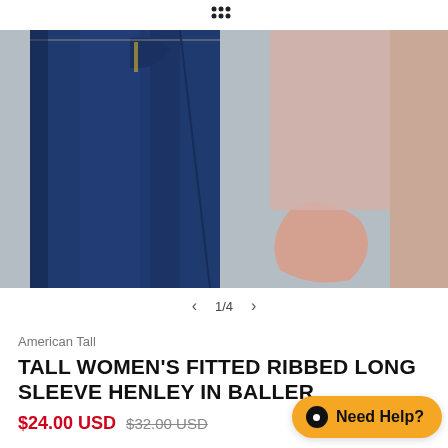logo dots icon
[Figure (photo): A person wearing dark blue denim jeans (high waist, wide leg) paired with a light pink/blush long sleeve top. The photo is cropped showing the torso and thighs. A second image is partially visible at the right edge.]
1/4
American Tall
TALL WOMEN'S FITTED RIBBED LONG SLEEVE HENLEY IN BALLER
$24.00 USD  $32.00 USD